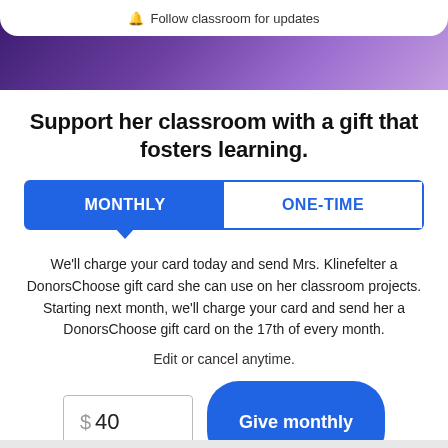[Figure (screenshot): Hero banner with purple gradient background showing hands and materials, with a white 'Follow classroom for updates' bar at the top]
Support her classroom with a gift that fosters learning.
MONTHLY | ONE-TIME (tab selector)
We'll charge your card today and send Mrs. Klinefelter a DonorsChoose gift card she can use on her classroom projects. Starting next month, we'll charge your card and send her a DonorsChoose gift card on the 17th of every month.
Edit or cancel anytime.
$ 40  Give monthly